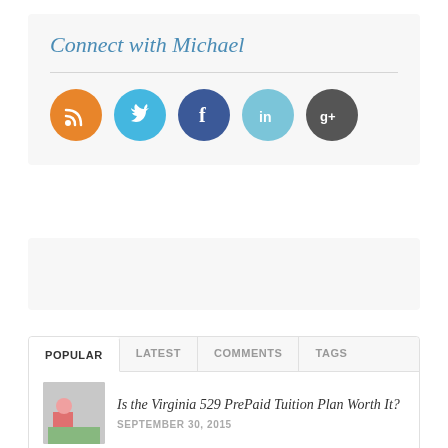Connect with Michael
[Figure (infographic): Five social media icon circles: RSS (orange), Twitter (light blue), Facebook (dark blue), LinkedIn (light blue), Google+ (dark gray)]
[Figure (other): Advertisement placeholder box]
POPULAR | LATEST | COMMENTS | TAGS
Is the Virginia 529 PrePaid Tuition Plan Worth It?
SEPTEMBER 30, 2015